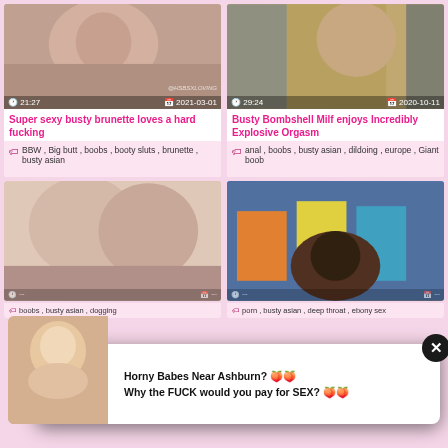[Figure (screenshot): Pornographic video thumbnail - top left card showing duration 21:27 and date 2021-03-01]
Super sexy busty brunette loves a hard fucking
BBW , Big butt , boobs , booty sluts , brunette , busty asian
[Figure (screenshot): Pornographic video thumbnail - top right card showing duration 29:24 and date 2020-10-11]
Busty Bombshell Milf enjoys Incredibly Explosive Orgasm
anal , boobs , busty asian , dildoing , europe , Giant boob
[Figure (screenshot): Pornographic video thumbnail - bottom left card]
[Figure (screenshot): Pornographic video thumbnail - bottom right card]
boobs , busty asian , dogging
porn , busty asian , deep throat , ebony sex
[Figure (screenshot): Pop-up advertisement with blonde woman photo and text: Horny Babes Near Ashburn? Why the FUCK would you pay for SEX?]